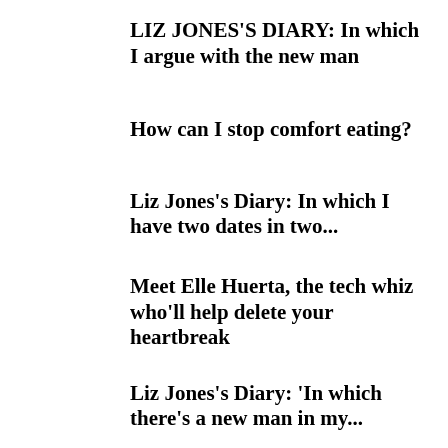LIZ JONES'S DIARY: In which I argue with the new man
How can I stop comfort eating?
Liz Jones's Diary: In which I have two dates in two...
Meet Elle Huerta, the tech whiz who'll help delete your heartbreak
Liz Jones's Diary: 'In which there's a new man in my...